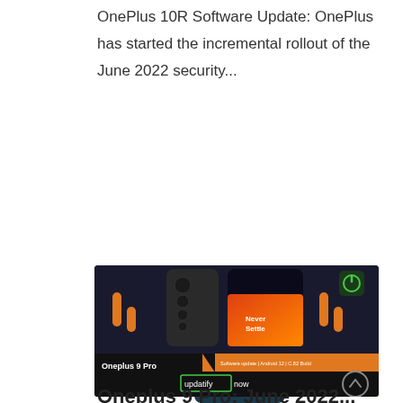OnePlus 10R Software Update: OnePlus has started the incremental rollout of the June 2022 security...
Read More
[Figure (photo): OnePlus 9 Pro phone promotional image with 'Never Settle' text, orange decorative bars, green power icon, black and orange banner showing 'Oneplus 9 Pro' and 'June 2022 Security Patch', updatify now branding, and a scroll-up circle button.]
Oneplus 9 Pro: June 2022...